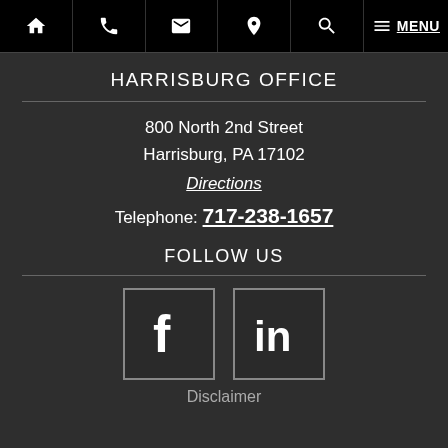Navigation bar with home, phone, email, location, search, menu icons
HARRISBURG OFFICE
800 North 2nd Street
Harrisburg, PA 17102
Directions
Telephone: 717-238-1657
FOLLOW US
[Figure (logo): Facebook icon square box]
[Figure (logo): LinkedIn icon square box]
Disclaimer